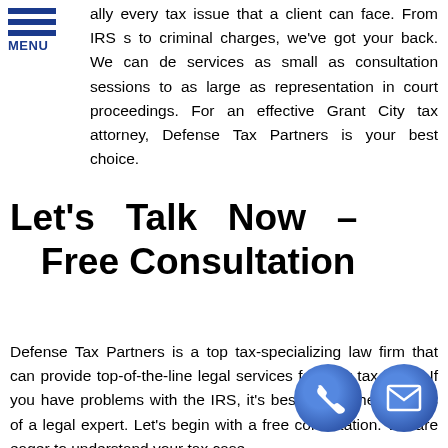MENU
ally every tax issue that a client can face. From IRS s to criminal charges, we've got your back. We can de services as small as consultation sessions to as large as representation in court proceedings. For an effective Grant City tax attorney, Defense Tax Partners is your best choice.
Let's Talk Now – Free Consultation
Defense Tax Partners is a top tax-specializing law firm that can provide top-of-the-line legal services for your tax issue. If you have problems with the IRS, it's best to call the services of a legal expert. Let's begin with a free consultation. We are eager to understand your tax case